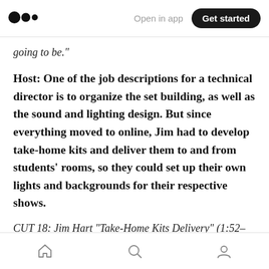Open in app | Get started
going to be.”
Host: One of the job descriptions for a technical director is to organize the set building, as well as the sound and lighting design. But since everything moved to online, Jim had to develop take-home kits and deliver them to and from students’ rooms, so they could set up their own lights and backgrounds for their respective shows.
CUT 18: Jim Hart “Take-Home Kits Delivery” (1:52– 2:00, 2:17, 2:25, 2:00, 2:33) — “So we wanted at
Home | Search | Profile